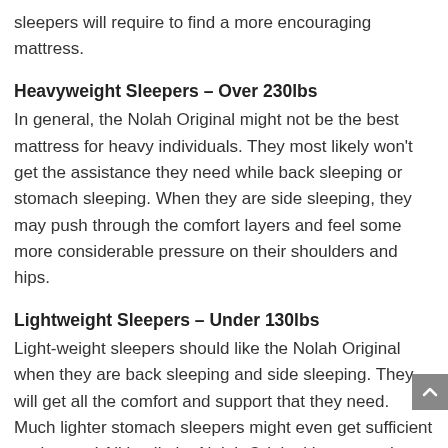sleepers will require to find a more encouraging mattress.
Heavyweight Sleepers – Over 230lbs
In general, the Nolah Original might not be the best mattress for heavy individuals. They most likely won't get the assistance they need while back sleeping or stomach sleeping. When they are side sleeping, they may push through the comfort layers and feel some more considerable pressure on their shoulders and hips.
Lightweight Sleepers – Under 130lbs
Light-weight sleepers should like the Nolah Original when they are back sleeping and side sleeping. They will get all the comfort and support that they need. Much lighter stomach sleepers might even get sufficient assistance! All in all, the Nolah Original is among the best bed mattress for lightweight